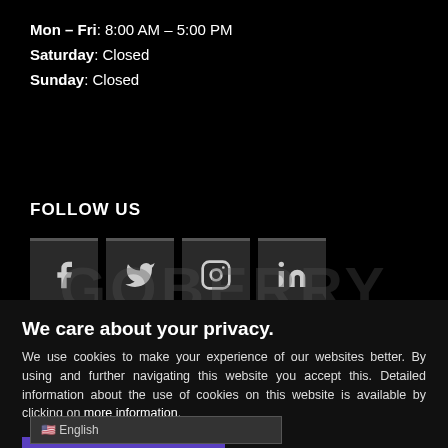Mon – Fri: 8:00 AM – 5:00 PM
Saturday: Closed
Sunday: Closed
FOLLOW US
[Figure (illustration): Four social media icon buttons: Facebook, Twitter, Instagram, LinkedIn]
X
We care about your privacy.
We use cookies to make your experience of our websites better. By using and further navigating this website you accept this. Detailed information about the use of cookies on this website is available by clicking on more information.
[Figure (illustration): Goberry Tractor logo watermark in dark grey]
ACCEPT AND CLOSE
English